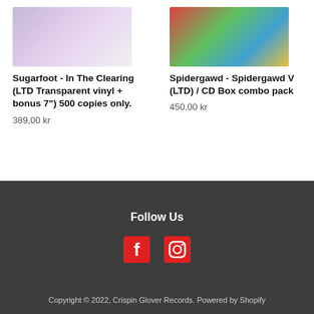[Figure (photo): Vinyl record album artwork for Sugarfoot - In The Clearing, showing a purple/lavender colored disc]
Sugarfoot - In The Clearing (LTD Transparent vinyl + bonus 7") 500 copies only.
389,00 kr
[Figure (photo): Album artwork for Spidergawd - Spidergawd V (LTD) / CD Box combo pack, colorful floral/garden scene]
Spidergawd - Spidergawd V (LTD) / CD Box combo pack
450,00 kr
Follow Us
[Figure (other): Facebook and Instagram social media icons in red]
Copyright © 2022, Crispin Glover Records. Powered by Shopify